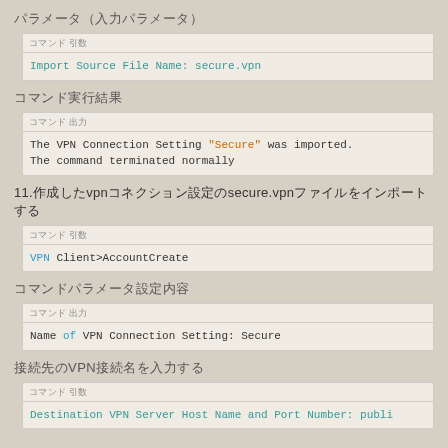パラメータ（入力パラメータ）
| コマンド 引数 |
| --- |
| Import Source File Name: secure.vpn |
コマンド実行結果
| コマンド 出力 |
| --- |
| The VPN Connection Setting "Secure" was imported.
The command terminated normally |
11.作成したvpnコネクション設定のsecure.vpnファイルをインポートする
| コマンド 引数 |
| --- |
| VPN Client>AccountCreate |
コマンドパラメータ設定内容
| コマンド 出力 |
| --- |
| Name of VPN Connection Setting: Secure |
接続先のVPN接続名を入力する
| コマンド 引数 |
| --- |
| Destination VPN Server Host Name and Port Number: publi |